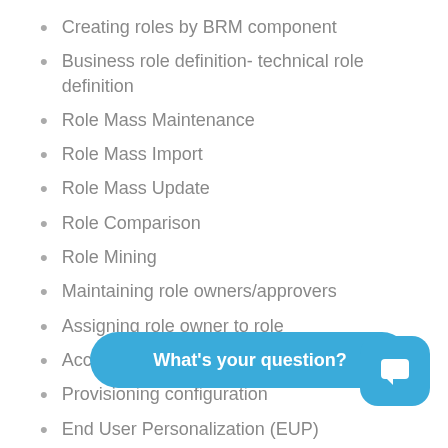Creating roles by BRM component
Business role definition- technical role definition
Role Mass Maintenance
Role Mass Import
Role Mass Update
Role Comparison
Role Mining
Maintaining role owners/approvers
Assigning role owner to role
Access Request Management (ARM)
Provisioning configuration
End User Personalization (EUP)
Con[figuring access request manag]g.
Creating access request